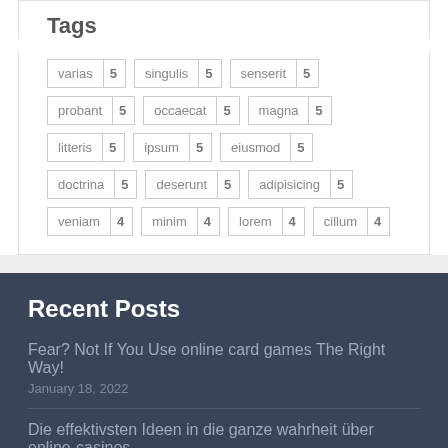Tags
varias 5
singulis 5
senserit 5
probant 5
occaecat 5
magna 5
litteris 5
ipsum 5
eiusmod 5
doctrina 5
deserunt 5
adipisicing 5
veniam 4
minim 4
lorem 4
cillum 4
Recent Posts
Fear? Not If You Use online card games The Right Way!
January 18, 2022
Die effektivsten Ideen in die ganze wahrheit über online-casinos